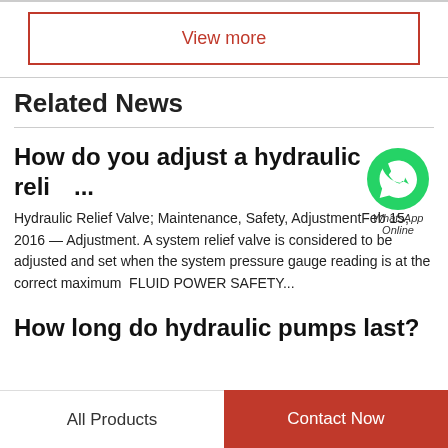View more
Related News
How do you adjust a hydraulic reli...
Hydraulic Relief Valve; Maintenance, Safety, AdjustmentFeb 15, 2016 — Adjustment. A system relief valve is considered to be adjusted and set when the system pressure gauge reading is at the correct maximum  FLUID POWER SAFETY...
[Figure (logo): WhatsApp green circle icon with phone handset, labeled 'WhatsApp Online']
How long do hydraulic pumps last?
All Products | Contact Now